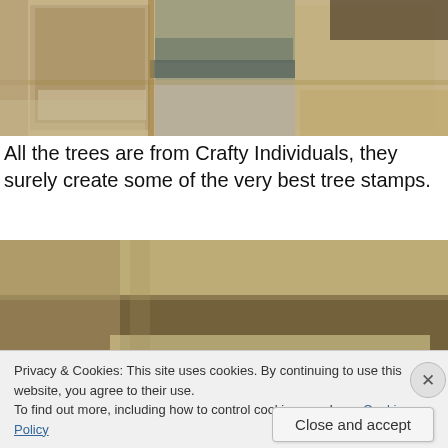[Figure (photo): Close-up photo of mixed media collage artwork with layered textures, paper, metal, and earthy tones — vintage mosaic style]
All the trees are from Crafty Individuals, they surely create some of the very best tree stamps.
[Figure (photo): Close-up photo of aged paper/collage artwork with handwritten or printed text fragments visible, sepia and brown tones]
Privacy & Cookies: This site uses cookies. By continuing to use this website, you agree to their use.
To find out more, including how to control cookies, see here: Cookie Policy